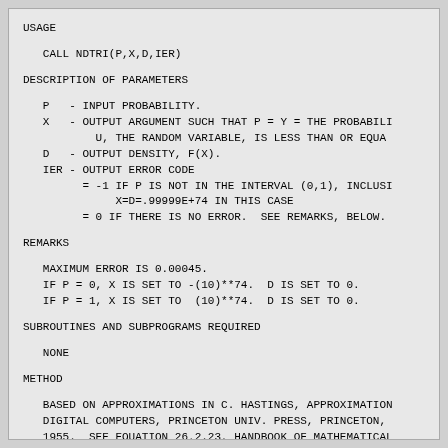USAGE
CALL NDTRI(P,X,D,IER)
DESCRIPTION OF PARAMETERS
P   - INPUT PROBABILITY.
   X   - OUTPUT ARGUMENT SUCH THAT P = Y = THE PROBABILI
           U, THE RANDOM VARIABLE, IS LESS THAN OR EQUA
   D   - OUTPUT DENSITY, F(X).
   IER - OUTPUT ERROR CODE
         = -1 IF P IS NOT IN THE INTERVAL (0,1), INCLUSI
              X=D=.99999E+74 IN THIS CASE
         = 0 IF THERE IS NO ERROR.  SEE REMARKS, BELOW.
REMARKS
MAXIMUM ERROR IS 0.00045.
   IF P = 0, X IS SET TO -(10)**74.  D IS SET TO 0.
   IF P = 1, X IS SET TO  (10)**74.  D IS SET TO 0.
SUBROUTINES AND SUBPROGRAMS REQUIRED
NONE
METHOD
BASED ON APPROXIMATIONS IN C. HASTINGS, APPROXIMATION
   DIGITAL COMPUTERS, PRINCETON UNIV. PRESS, PRINCETON,
   1955.  SEE EQUATION 26.2.23, HANDBOOK OF MATHEMATICAL
   FUNCTIONS, ABRAMOWITZ AND STEGUN, DOVER PUBLICATIONS,
   NEW YORK.